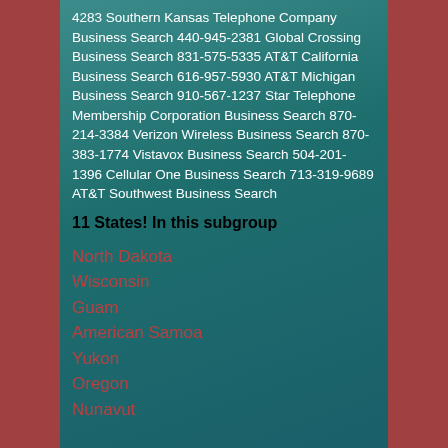4283 Southern Kansas Telephone Company Business Search 440-945-2381 Global Crossing Business Search 831-575-5335 AT&T California Business Search 616-957-5930 AT&T Michigan Business Search 910-567-1237 Star Telephone Membership Corporation Business Search 870-214-3384 Verizon Wireless Business Search 870-383-1774 Vistavox Business Search 504-201-1396 Cellular One Business Search 713-319-9689 AT&T Southwest Business Search
11 States! In this subgroup
North Dakota
Wisconsin
Guam
American Samoa
Yukon
Oregon
Nunavut